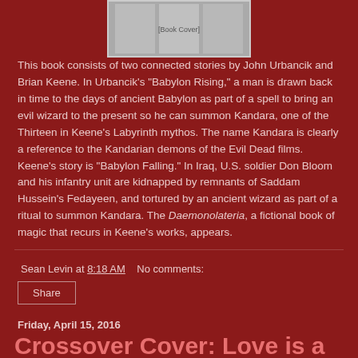[Figure (photo): Book cover image at the top center of the page]
This book consists of two connected stories by John Urbancik and Brian Keene. In Urbancik's "Babylon Rising," a man is drawn back in time to the days of ancient Babylon as part of a spell to bring an evil wizard to the present so he can summon Kandara, one of the Thirteen in Keene's Labyrinth mythos. The name Kandara is clearly a reference to the Kandarian demons of the Evil Dead films. Keene's story is "Babylon Falling." In Iraq, U.S. soldier Don Bloom and his infantry unit are kidnapped by remnants of Saddam Hussein's Fedayeen, and tortured by an ancient wizard as part of a ritual to summon Kandara. The Daemonolateria, a fictional book of magic that recurs in Keene's works, appears.
Sean Levin at 8:18 AM   No comments:
Share
Friday, April 15, 2016
Crossover Cover: Love is a Battlefield